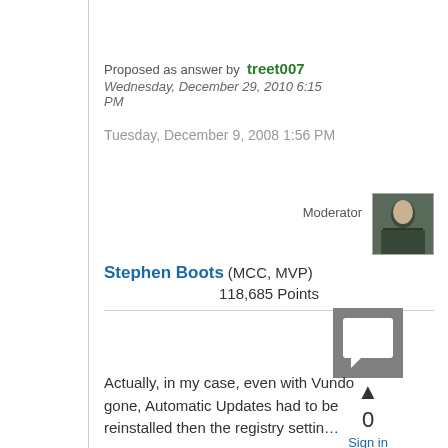Proposed as answer by  treet007
Wednesday, December 29, 2010 6:15 PM
Tuesday, December 9, 2008 1:56 PM
Moderator
[Figure (photo): Moderator avatar photo of Stephen Boots]
Stephen Boots (MCC, MVP)
118,685 Points
[Figure (illustration): Gray reply/comment icon square]
▲
0
Sign in to vote
Actually, in my case, even with Vundo gone, Automatic Updates had to be reinstalled then the registry settings…